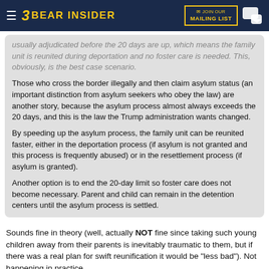BEAR INSIDER — JOIN OUR MAILING LIST
usually adjudicated before the 20 days are up, which means the family unit is reunited during deportation and no foster care is needed. This, obviously, is the best case scenario.
Those who cross the border illegally and then claim asylum status (an important distinction from asylum seekers who obey the law) are another story, because the asylum process almost always exceeds the 20 days, and this is the law the Trump administration wants changed.
By speeding up the asylum process, the family unit can be reunited faster, either in the deportation process (if asylum is not granted and this process is frequently abused) or in the resettlement process (if asylum is granted).
Another option is to end the 20-day limit so foster care does not become necessary. Parent and child can remain in the detention centers until the asylum process is settled.
Sounds fine in theory (well, actually NOT fine since taking such young children away from their parents is inevitably traumatic to them, but if there was a real plan for swift reunification it would be "less bad"). Not happening in practice.